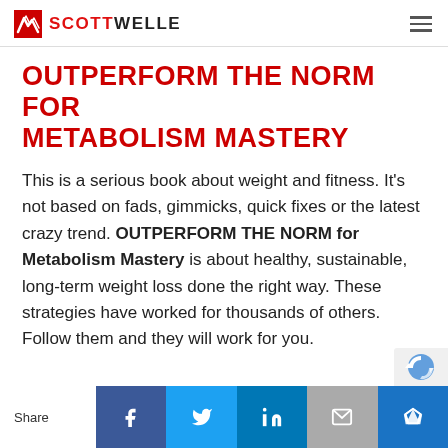SCOTT WELLE
OUTPERFORM THE NORM FOR METABOLISM MASTERY
This is a serious book about weight and fitness. It's not based on fads, gimmicks, quick fixes or the latest crazy trend. OUTPERFORM THE NORM for Metabolism Mastery is about healthy, sustainable, long-term weight loss done the right way. These strategies have worked for thousands of others. Follow them and they will work for you.
Share | Facebook | Twitter | LinkedIn | Email | Crown